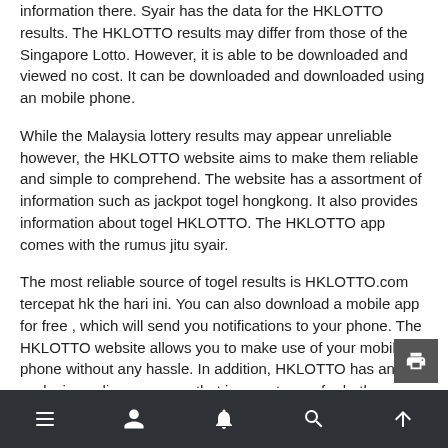information there. Syair has the data for the HKLOTTO results. The HKLOTTO results may differ from those of the Singapore Lotto. However, it is able to be downloaded and viewed no cost. It can be downloaded and downloaded using an mobile phone.
While the Malaysia lottery results may appear unreliable however, the HKLOTTO website aims to make them reliable and simple to comprehend. The website has a assortment of information such as jackpot togel hongkong. It also provides information about togel HKLOTTO. The HKLOTTO app comes with the rumus jitu syair.
The most reliable source of togel results is HKLOTTO.com tercepat hk the hari ini. You can also download a mobile app for free , which will send you notifications to your phone. The HKLOTTO website allows you to make use of your mobile phone without any hassle. In addition, HKLOTTO has an exclusive online presence that is easy to use for both domestic and international travelers.
Navigation bar with menu, user, notification, search, and up icons